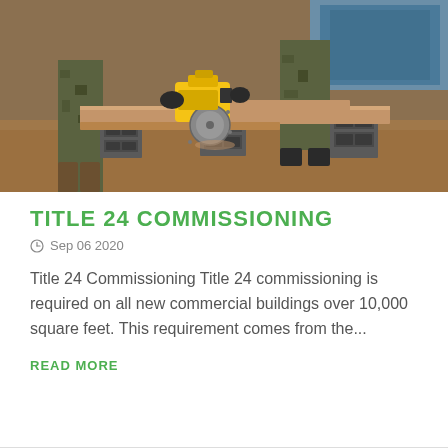[Figure (photo): Construction workers in military camouflage clothing cutting wood planks with a yellow power saw on cinder blocks at a construction site with sandy ground.]
TITLE 24 COMMISSIONING
Sep 06 2020
Title 24 Commissioning Title 24 commissioning is required on all new commercial buildings over 10,000 square feet. This requirement comes from the...
READ MORE